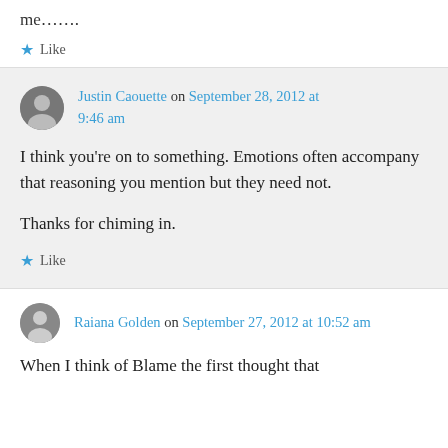me…….
★ Like
Justin Caouette on September 28, 2012 at 9:46 am
I think you're on to something. Emotions often accompany that reasoning you mention but they need not.

Thanks for chiming in.
★ Like
Raiana Golden on September 27, 2012 at 10:52 am
When I think of Blame the first thought that